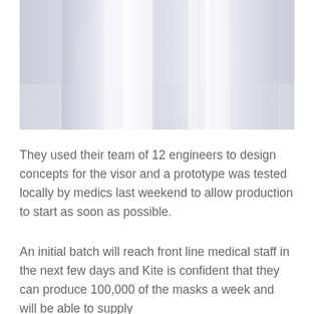[Figure (photo): Close-up photograph of clear/transparent cylindrical plastic material with light reflections and highlights on a grey background]
They used their team of 12 engineers to design concepts for the visor and a prototype was tested locally by medics last weekend to allow production to start as soon as possible.
An initial batch will reach front line medical staff in the next few days and Kite is confident that they can produce 100,000 of the masks a week and will be able to supply